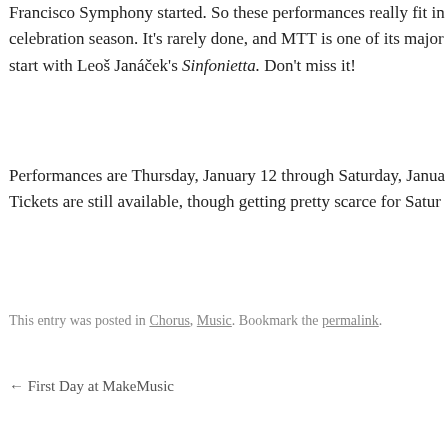Francisco Symphony started. So these performances really fit in celebration season. It's rarely done, and MTT is one of its major start with Leoš Janáček's Sinfonietta. Don't miss it!
Performances are Thursday, January 12 through Saturday, January Tickets are still available, though getting pretty scarce for Saturday.
This entry was posted in Chorus, Music. Bookmark the permalink.
← First Day at MakeMusic